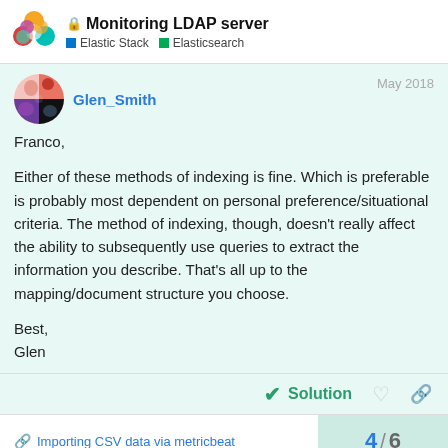Monitoring LDAP server — Elastic Stack · Elasticsearch
Glen_Smith
May 2018

Franco,

Either of these methods of indexing is fine. Which is preferable is probably most dependent on personal preference/situational criteria. The method of indexing, though, doesn't really affect the ability to subsequently use queries to extract the information you describe. That's all up to the mapping/document structure you choose.

Best,
Glen
Solution
4 / 6
Importing CSV data via metricbeat